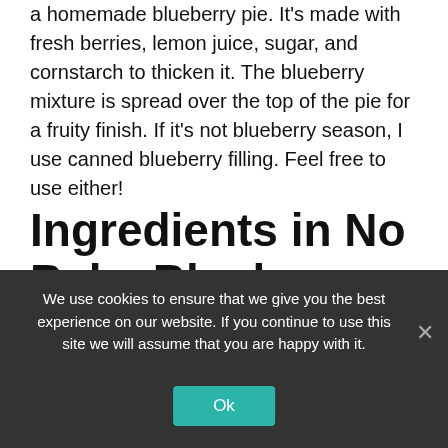a homemade blueberry pie. It's made with fresh berries, lemon juice, sugar, and cornstarch to thicken it. The blueberry mixture is spread over the top of the pie for a fruity finish. If it's not blueberry season, I use canned blueberry filling. Feel free to use either!
Ingredients in No Bake Blueberry Cheesecake
We use cookies to ensure that we give you the best experience on our website. If you continue to use this site we will assume that you are happy with it.